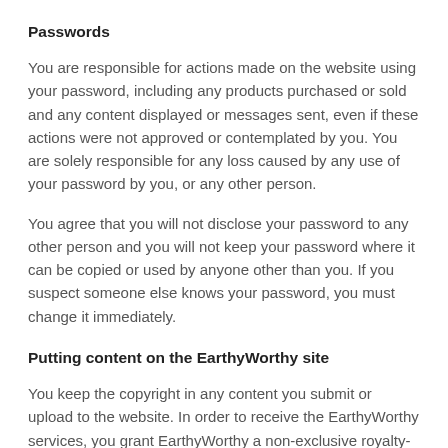Passwords
You are responsible for actions made on the website using your password, including any products purchased or sold and any content displayed or messages sent, even if these actions were not approved or contemplated by you. You are solely responsible for any loss caused by any use of your password by you, or any other person.
You agree that you will not disclose your password to any other person and you will not keep your password where it can be copied or used by anyone other than you. If you suspect someone else knows your password, you must change it immediately.
Putting content on the EarthyWorthy site
You keep the copyright in any content you submit or upload to the website. In order to receive the EarthyWorthy services, you grant EarthyWorthy a non-exclusive royalty-free license to use and